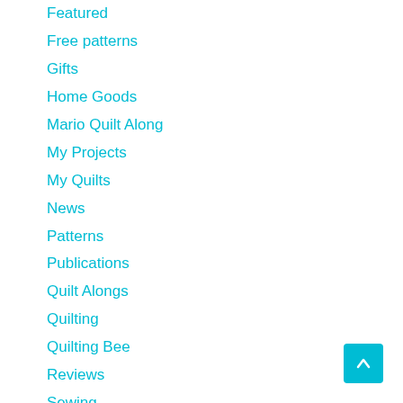Featured
Free patterns
Gifts
Home Goods
Mario Quilt Along
My Projects
My Quilts
News
Patterns
Publications
Quilt Alongs
Quilting
Quilting Bee
Reviews
Sewing
Swaps
Teaching
Tutorials